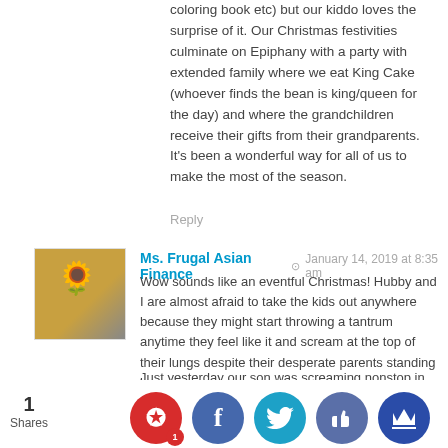coloring book etc) but our kiddo loves the surprise of it. Our Christmas festivities culminate on Epiphany with a party with extended family where we eat King Cake (whoever finds the bean is king/queen for the day) and where the grandchildren receive their gifts from their grandparents. It's been a wonderful way for all of us to make the most of the season.
Reply
Ms. Frugal Asian Finance  ⊙  January 14, 2019 at 8:35 am
Wow sounds like an eventful Christmas! Hubby and I are almost afraid to take the kids out anywhere because they might start throwing a tantrum anytime they feel like it and scream at the top of their lungs despite their desperate parents standing by.
Just yesterday our son was screaming nonstop in the neighborhood when we took him out to watch the snow. Some neighbors came to check on him. We had to take (drag?) him home. It took another hour for the tantrum to stop. Happy snow day!
[Figure (infographic): Social share bar with Pinterest (1 share), Facebook, Twitter, Like, and Crown buttons, plus share count of 1]